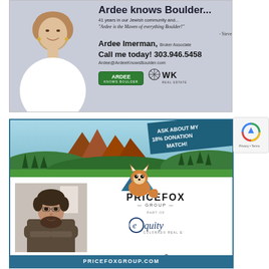[Figure (photo): Real estate advertisement for Ardee Imerman, Broker Associate at WK Real Estate. Features a photo of a woman with short blonde hair in a white blazer. Text reads: 'Ardee knows Boulder... 41 years in our Jewish community and... Ardee is the Maven of everything Boulder! - Steve. Ardee Imerman, Broker Associate. Call me today! 303.946.5458. Ardee@ArdeeKnowsBoulder.com'. Logos for Ardee Knows Boulder and WK Real Estate shown.]
[Figure (photo): Real estate advertisement for Mitchell Magdovitz, REALTOR with PriceFox Group, part of Equity Colorado Real Estate. Features mountain landscape illustration with Flatirons, a fox mascot logo, and a photo of a bearded man with arms crossed. Banner says 'ASK ABOUT MY 18% DONATION MATCH!'. Contact info: 720.316.8163 | mitchell@pricefoxgroup.com. Website: PRICEFOXGROUP.COM]